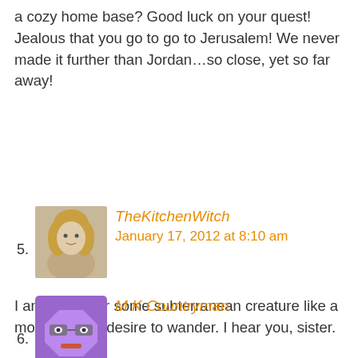a cozy home base? Good luck on your quest! Jealous that you go to go to Jerusalem! We never made it further than Jordan…so close, yet so far away!
5. TheKitchenWitch — January 17, 2012 at 8:10 am — I am a turtle or some subterranean creature like a mole. No real desire to wander. I hear you, sister.
6. M K Countryman